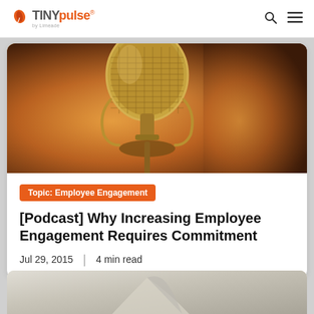TINYpulse by Limeade
[Figure (photo): Close-up photo of a vintage gold/brass microphone on a warm orange-brown background]
Topic: Employee Engagement
[Podcast] Why Increasing Employee Engagement Requires Commitment
Jul 29, 2015 | 4 min read
[Figure (photo): Partial photo showing a person at the bottom of the page]